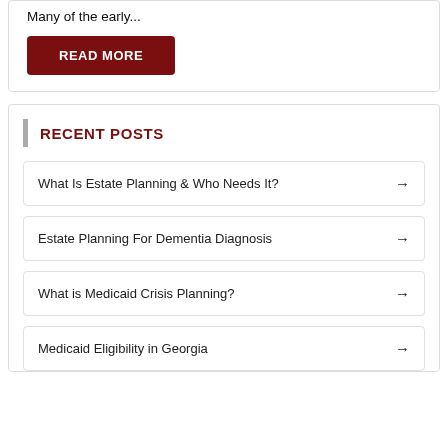Many of the early...
READ MORE
RECENT POSTS
What Is Estate Planning & Who Needs It?
Estate Planning For Dementia Diagnosis
What is Medicaid Crisis Planning?
Medicaid Eligibility in Georgia